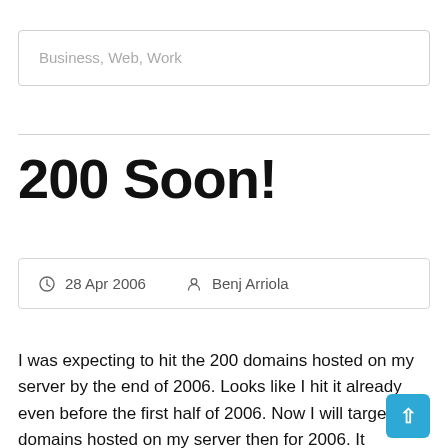Business, Web, Work
200 Soon!
28 Apr 2006  Benj Arriola
I was expecting to hit the 200 domains hosted on my server by the end of 2006. Looks like I hit it already even before the first half of 2006. Now I will target 400 domains hosted on my server then for 2006. It requires even m planning, and that is exactly what I am going to do.